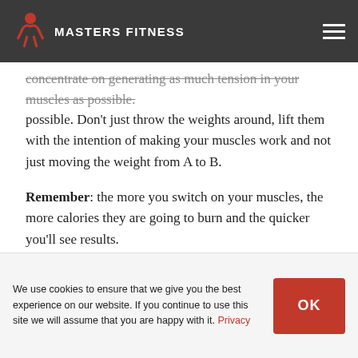MASTERS FITNESS
concentrate on generating as much tension in your muscles as possible. Don't just throw the weights around, lift them with the intention of making your muscles work and not just moving the weight from A to B.
Remember: the more you switch on your muscles, the more calories they are going to burn and the quicker you'll see results.
Do you live in the Ribble Valley area and want some help with your health and fitness? Then take a look at our local personal training page.
We use cookies to ensure that we give you the best experience on our website. If you continue to use this site we will assume that you are happy with it. Privacy